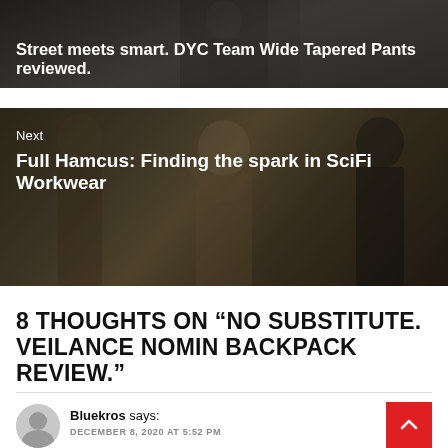[Figure (photo): Previous article banner image showing dark background with person wearing wide tapered pants, with overlay text 'Street meets smart. DYC Team Wide Tapered Pants reviewed.']
[Figure (photo): Next article banner image showing group of people in sci-fi workwear outfits with olive/military tones, with 'Next' label and title 'Full Hamcus: Finding the spark in SciFi Workwear']
8 THOUGHTS ON “NO SUBSTITUTE. VEILANCE NOMIN BACKPACK REVIEW.”
Bluekros says:
DECEMBER 8, 2020 AT 5:52 PM